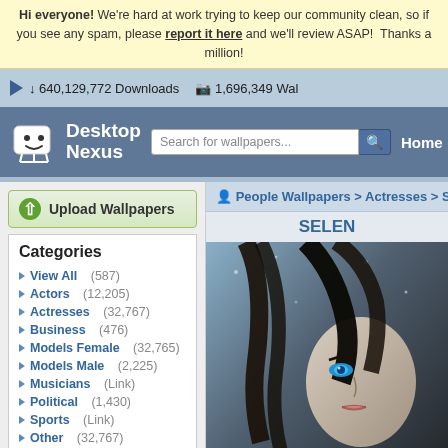Hi everyone! We're hard at work trying to keep our community clean, so if you see any spam, please report it here and we'll review ASAP! Thanks a million!
640,129,772 Downloads   1,696,349 Wallpapers
[Figure (screenshot): Desktop Nexus logo with a white robot/ghost mascot icon]
Search for wallpapers...
Home
Upload Wallpapers
People Wallpapers > Actresses > SELENA
Categories
View All (587)
Actors (12,205)
Actresses (32,767)
Business (476)
Models Female (32,765)
Models Male (2,225)
Musicians (Link)
Political (1,430)
Sports (Link)
Other (32,767)
Downloads: 640,129,772
People Walls: 247,386
All Wallpapers: 1,696,349
Tag Count: 9,948,936
SELENA
[Figure (photo): Dark-haired woman in black leather jacket with blue eyes against a snowy/stormy background — movie/fantasy style]